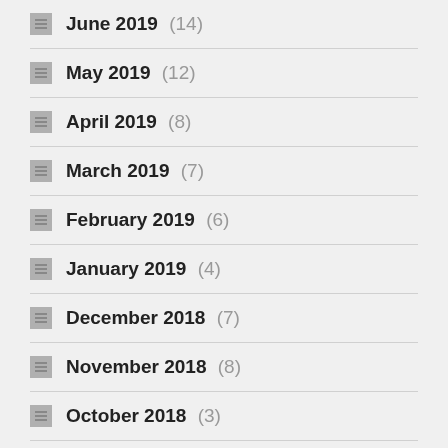June 2019 (14)
May 2019 (12)
April 2019 (8)
March 2019 (7)
February 2019 (6)
January 2019 (4)
December 2018 (7)
November 2018 (8)
October 2018 (3)
September 2018 (1)